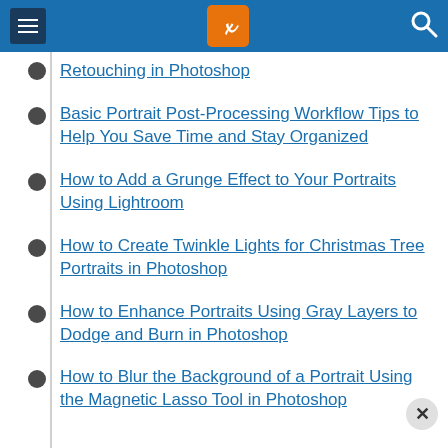dPS navigation header with menu, logo, and search
Retouching in Photoshop
Basic Portrait Post-Processing Workflow Tips to Help You Save Time and Stay Organized
How to Add a Grunge Effect to Your Portraits Using Lightroom
How to Create Twinkle Lights for Christmas Tree Portraits in Photoshop
How to Enhance Portraits Using Gray Layers to Dodge and Burn in Photoshop
How to Blur the Background of a Portrait Using the Magnetic Lasso Tool in Photoshop